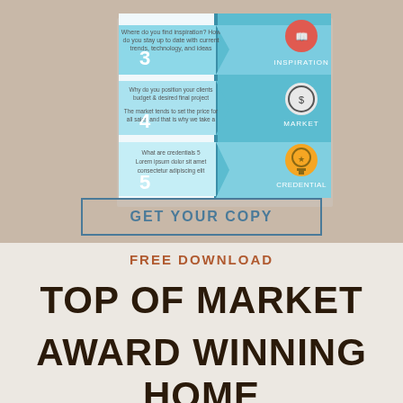[Figure (illustration): A brochure/booklet cover showing a numbered infographic with steps labeled 3 (Inspiration), 4 (Market), 5 (Credential), with teal/blue arrow chevron design and circular icons]
GET YOUR COPY
FREE DOWNLOAD
TOP OF MARKET AWARD WINNING HOME